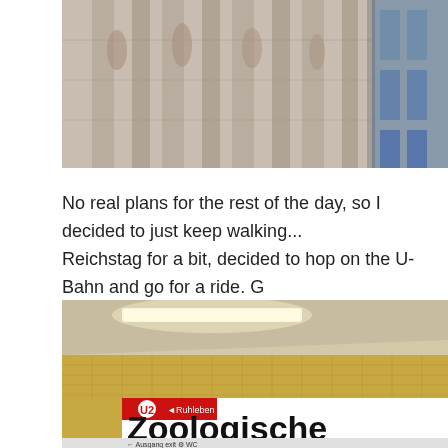[Figure (photo): Exterior facade of a stone building with columns and ornate carvings, partial view cropped at bottom]
No real plans for the rest of the day, so I decided to just keep walking... Reichstag for a bit, decided to hop on the U-Bahn and go for a ride. G
[Figure (photo): Interior of a U-Bahn (subway) station showing a sign for U2 Zoologische(r Garten) with Ruhleben direction, yellow tiled walls, fluorescent ceiling lights, and a bottom sign reading Ausgang exit and WC]